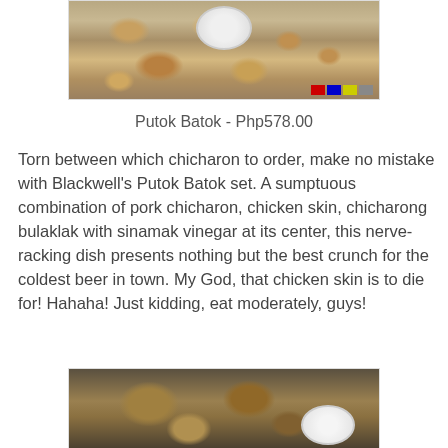[Figure (photo): Photo of Putok Batok chicharon set on a wooden board with a bowl of sinamak vinegar in the center, various fried pork and chicken skin pieces, with a small watermark logo in the bottom right corner]
Putok Batok - Php578.00
Torn between which chicharon to order, make no mistake with Blackwell's Putok Batok set. A sumptuous combination of pork chicharon, chicken skin, chicharong bulaklak with sinamak vinegar at its center, this nerve-racking dish presents nothing but the best crunch for the coldest beer in town. My God, that chicken skin is to die for! Hahaha! Just kidding, eat moderately, guys!
[Figure (photo): Photo of roasted/fried chicken pieces on a wooden board with a bowl of dark dipping sauce with visible seeds/spices]